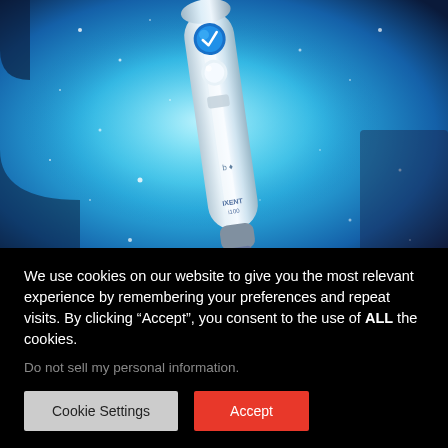[Figure (photo): A silver electric toothbrush (labeled IXENT i100) with a blue circular button and white button at the top, photographed against a glowing blue sparkly background with bokeh light effects.]
We use cookies on our website to give you the most relevant experience by remembering your preferences and repeat visits. By clicking “Accept”, you consent to the use of ALL the cookies.
Do not sell my personal information.
Cookie Settings
Accept